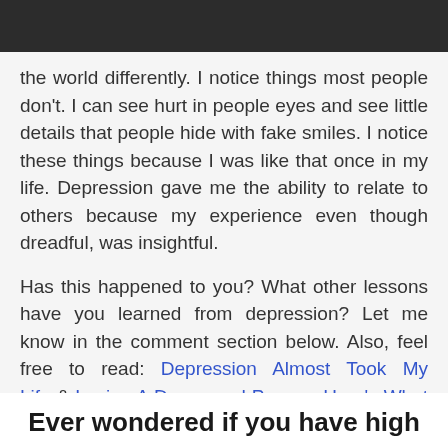the world differently. I notice things most people don't. I can see hurt in people eyes and see little details that people hide with fake smiles. I notice these things because I was like that once in my life. Depression gave me the ability to relate to others because my experience even though dreadful, was insightful.
Has this happened to you? What other lessons have you learned from depression? Let me know in the comment section below. Also, feel free to read: Depression Almost Took My Life & Loving A Depressed Person: Here's What You Need to Know
Ever wondered if you have high